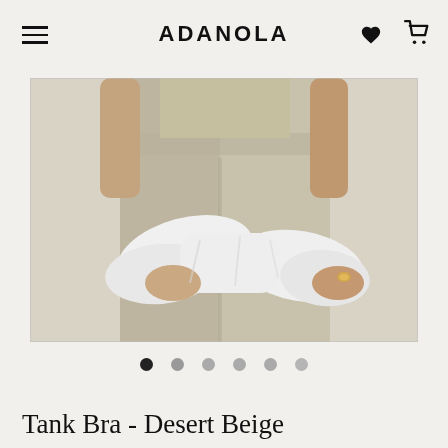ADANOLA
[Figure (photo): A person wearing desert beige seamless leggings and tank bra, holding a white garment/jacket in front of their waist. Close-up mid-body shot against a light background.]
Tank Bra - Desert Beige